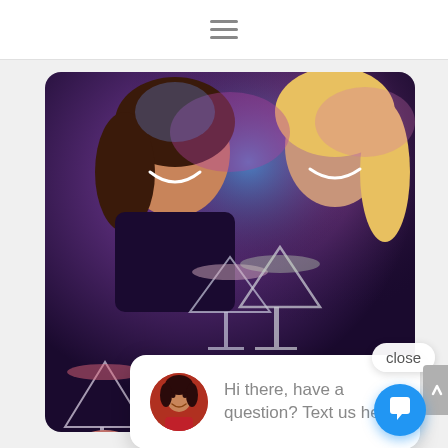[Figure (screenshot): Navigation bar with hamburger menu icon (three horizontal lines) centered on white background]
[Figure (photo): Party scene: two women smiling and clinking martini glasses under purple/pink club lighting, with additional hands holding cocktail glasses in the foreground]
close
[Figure (photo): Avatar: small circular photo of a woman with dark hair wearing red]
Hi there, have a question? Text us here.
[Figure (infographic): Blue circular chat/message FAB button in bottom right corner with white speech bubble icon]